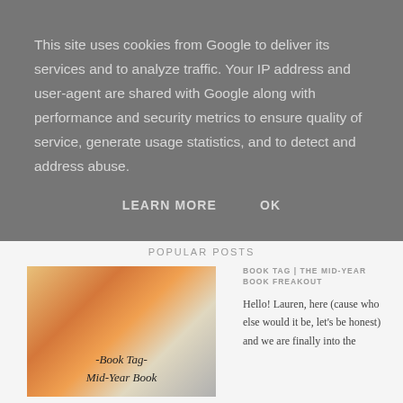This site uses cookies from Google to deliver its services and to analyze traffic. Your IP address and user-agent are shared with Google along with performance and security metrics to ensure quality of service, generate usage statistics, and to detect and address abuse.
LEARN MORE
OK
POPULAR POSTS
[Figure (photo): Photo of books/book tag image with text reading 'Book Tag - Mid-Year Book' in cursive on a colorful background]
BOOK TAG | THE MID-YEAR BOOK FREAKOUT
Hello! Lauren, here (cause who else would it be, let's be honest) and we are finally into the